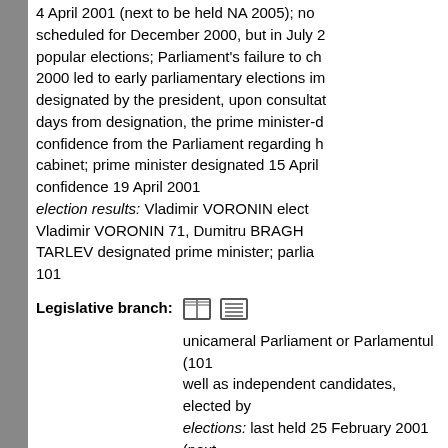4 April 2001 (next to be held NA 2005); no scheduled for December 2000, but in July 2 popular elections; Parliament's failure to ch 2000 led to early parliamentary elections im designated by the president, upon consultat days from designation, the prime minister-d confidence from the Parliament regarding h cabinet; prime minister designated 15 April confidence 19 April 2001 election results: Vladimir VORONIN electo Vladimir VORONIN 71, Dumitru BRAGH TARLEV designated prime minister; parlia 101
Legislative branch:
unicameral Parliament or Parlamentul (101 well as independent candidates, elected by elections: last held 25 February 2001 (next election results: percent of vote by party - P PPCD 8.2%, other parties 28.3%; seats by p PPCD 11
Judicial branch:
Supreme Court; Constitutional Court (the s judicature)